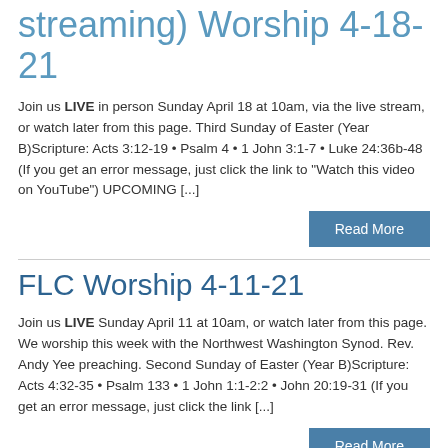streaming) Worship 4-18-21
Join us LIVE in person Sunday April 18 at 10am, via the live stream, or watch later from this page. Third Sunday of Easter (Year B)Scripture: Acts 3:12-19 • Psalm 4 • 1 John 3:1-7 • Luke 24:36b-48 (If you get an error message, just click the link to "Watch this video on YouTube") UPCOMING [...]
Read More
FLC Worship 4-11-21
Join us LIVE Sunday April 11 at 10am, or watch later from this page. We worship this week with the Northwest Washington Synod. Rev. Andy Yee preaching. Second Sunday of Easter (Year B)Scripture: Acts 4:32-35 • Psalm 133 • 1 John 1:1-2:2 • John 20:19-31 (If you get an error message, just click the link [...]
Read More